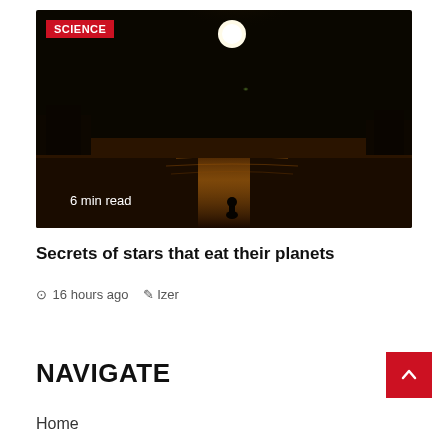[Figure (photo): Night scene with bright full moon over water, silhouettes of structures on left and right, person silhouette in water reflection, with a SCIENCE badge and '6 min read' text overlay]
Secrets of stars that eat their planets
16 hours ago  Izer
NAVIGATE
Home